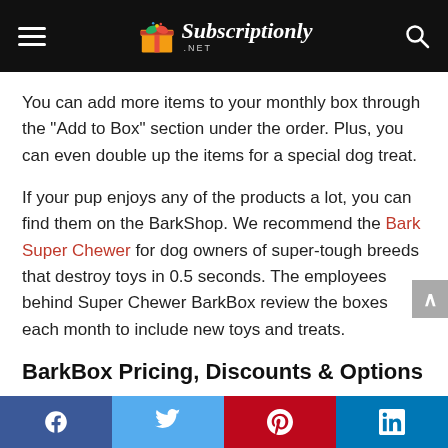Subscriptionly .NET
You can add more items to your monthly box through the "Add to Box" section under the order. Plus, you can even double up the items for a special dog treat.
If your pup enjoys any of the products a lot, you can find them on the BarkShop. We recommend the Bark Super Chewer for dog owners of super-tough breeds that destroy toys in 0.5 seconds. The employees behind Super Chewer BarkBox review the boxes each month to include new toys and treats.
BarkBox Pricing, Discounts & Options
Facebook Twitter Pinterest LinkedIn